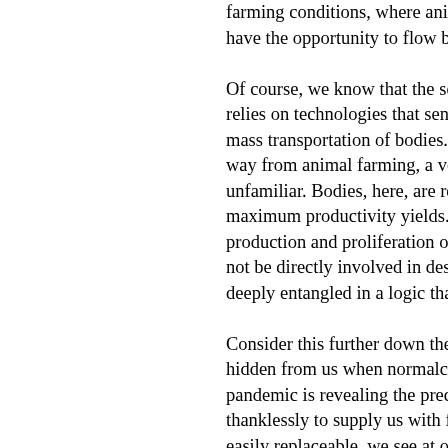farming conditions, where animals are have the opportunity to flow between s Of course, we know that the scale of t relies on technologies that sense phys mass transportation of bodies. Althoug way from animal farming, a very partic unfamiliar. Bodies, here, are reduced t maximum productivity yields. Moreover production and proliferation of data, ar not be directly involved in designing ar deeply entangled in a logic that enable Consider this further down the supply c hidden from us when normalcy prevail pandemic is revealing the precarity of thanklessly to supply us with food. Wit easily replaceable, we see at one and be, but also how critical they are to no one of extraction where systems of mo maximal labor from people working ac than the Taylorism applied to the facto technologies manage and optimize glo locating human labor among the flows achievement is that maximum extracti locations, from the factory farm, to lab circulation. It's hardly surprising that h